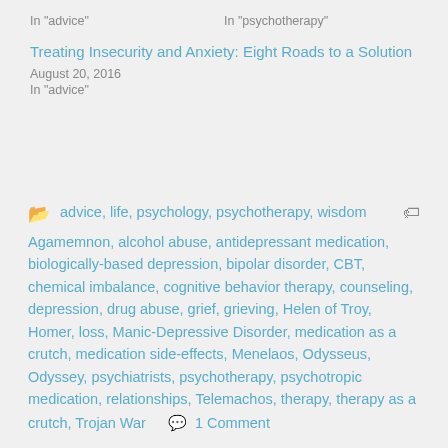In "advice"
In "psychotherapy"
Treating Insecurity and Anxiety: Eight Roads to a Solution
August 20, 2016
In "advice"
advice, life, psychology, psychotherapy, wisdom
Agamemnon, alcohol abuse, antidepressant medication, biologically-based depression, bipolar disorder, CBT, chemical imbalance, cognitive behavior therapy, counseling, depression, drug abuse, grief, grieving, Helen of Troy, Homer, loss, Manic-Depressive Disorder, medication as a crutch, medication side-effects, Menelaos, Odysseus, Odyssey, psychiatrists, psychotherapy, psychotropic medication, relationships, Telemachos, therapy, therapy as a crutch, Trojan War
1 Comment